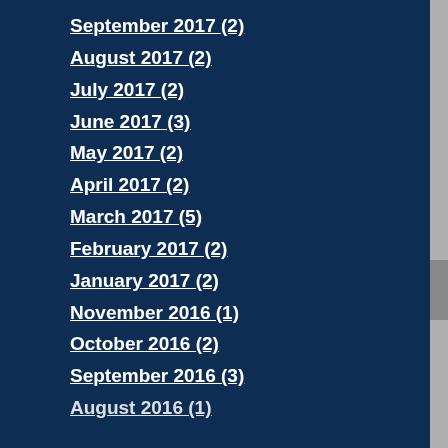September 2017 (2)
August 2017 (2)
July 2017 (2)
June 2017 (3)
May 2017 (2)
April 2017 (2)
March 2017 (5)
February 2017 (2)
January 2017 (2)
November 2016 (1)
October 2016 (2)
September 2016 (3)
August 2016 (1)